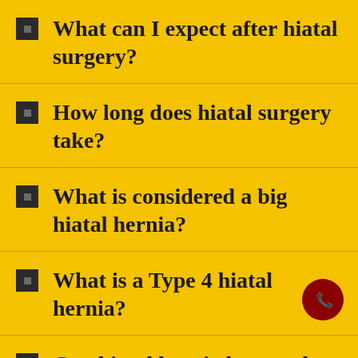What can I expect after hiatal surgery?
How long does hiatal surgery take?
What is considered a big hiatal hernia?
What is a Type 4 hiatal hernia?
Can hiatal hernia be cured